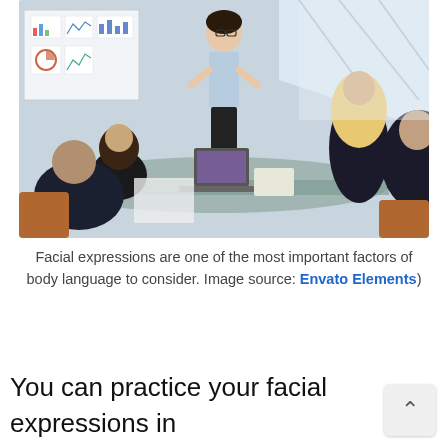[Figure (photo): A business meeting scene: a woman in a light blue shirt stands presenting at a whiteboard with charts, while three seated attendees (two men and a blonde woman) watch. A laptop and tablet are visible on the glass conference table.]
Facial expressions are one of the most important factors of body language to consider. Image source: Envato Elements)
You can practice your facial expressions in front of the mirror while you practice your